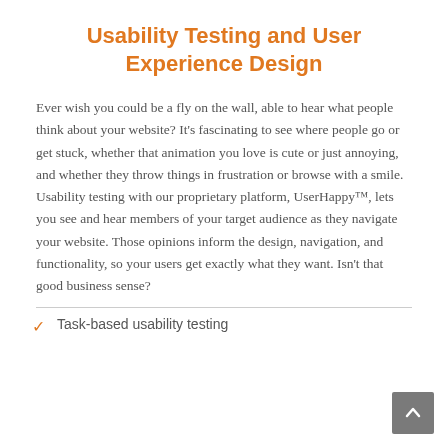Usability Testing and User Experience Design
Ever wish you could be a fly on the wall, able to hear what people think about your website? It's fascinating to see where people go or get stuck, whether that animation you love is cute or just annoying, and whether they throw things in frustration or browse with a smile. Usability testing with our proprietary platform, UserHappy™, lets you see and hear members of your target audience as they navigate your website. Those opinions inform the design, navigation, and functionality, so your users get exactly what they want. Isn't that good business sense?
Task-based usability testing